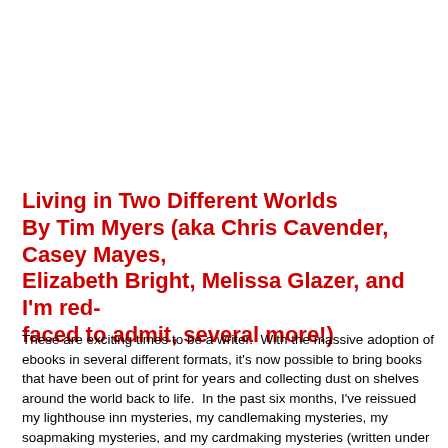Living in Two Different Worlds By Tim Myers (aka Chris Cavender, Casey Mayes, Elizabeth Bright, Melissa Glazer, and I'm red-faced to admit, several more!)
These are exciting times to be a writer.  With the massive adoption of ebooks in several different formats, it's now possible to bring books that have been out of print for years and collecting dust on shelves around the world back to life.  In the past six months, I've reissued my lighthouse inn mysteries, my candlemaking mysteries, my soapmaking mysteries, and my cardmaking mysteries (written under the name Elizabeth Bright).  I love seeing them available again, and making me a bit of money in the bargain.  The process isn't all that simple, but it can be done with a little work, and I've found a surprising joy in creating covers for these books as